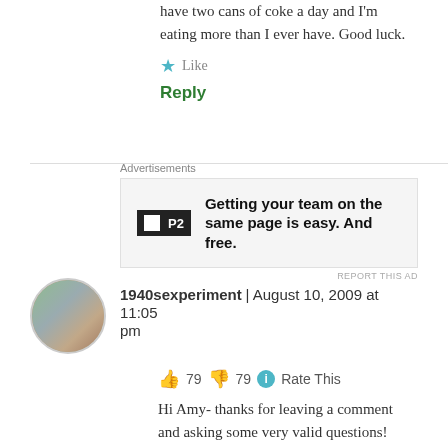have two cans of coke a day and I'm eating more than I ever have. Good luck.
★ Like
Reply
Advertisements
[Figure (other): Advertisement for P2 product: Getting your team on the same page is easy. And free.]
REPORT THIS AD
1940sexperiment  |  August 10, 2009 at 11:05 pm
👍 79 👎 79 ℹ Rate This
Hi Amy- thanks for leaving a comment and asking some very valid questions!
First of all NO I haven't talked to my doctor (just my choice) but I would highly recommend that anyone